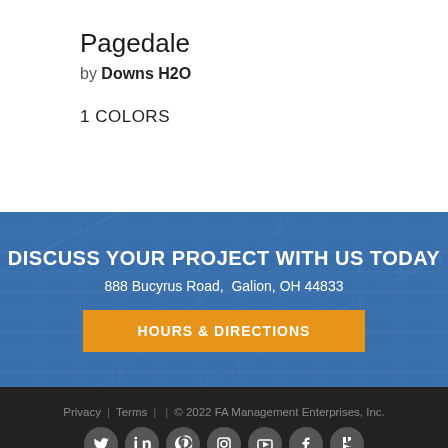Pagedale
by Downs H2O
1 COLORS
DISCUSS YOUR PROJECT WITH US TODAY
888 Bucyrus Road,  Galion, OH 44833
HOURS & DIRECTIONS
Privacy | Terms |  | © 2022 FA Management Enterprises, Inc.